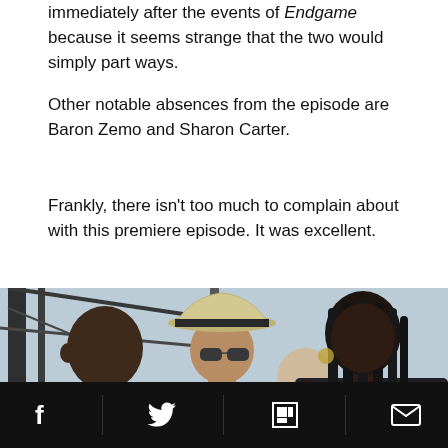immediately after the events of Endgame because it seems strange that the two would simply part ways.
Other notable absences from the episode are Baron Zemo and Sharon Carter.
Frankly, there isn't too much to complain about with this premiere episode. It was excellent.
[Figure (photo): Three people on what appears to be a dock or set location — a man in a grey t-shirt on the left, a person wearing a wide-brimmed hat and sunglasses in the middle, and a woman with long braided hair on the right, apparently in conversation.]
Social share bar with Facebook, Twitter, Flipboard, and Email icons